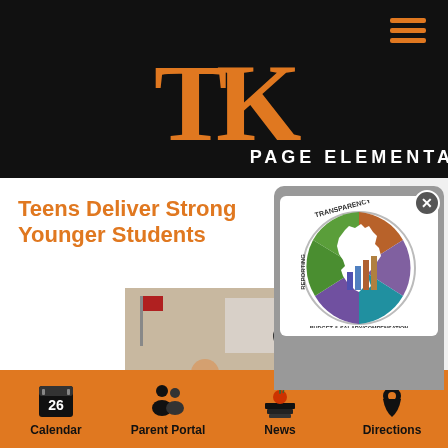[Figure (logo): TK Page Elementary school logo — orange TK lettermark on black background with 'PAGE ELEMENTARY' text in white]
Teens Deliver Strong Younger Students
[Figure (photo): Classroom photo showing students and a teacher standing at the front near a whiteboard]
[Figure (logo): Michigan Transparency Reporting Budget & Salary/Compensation circular logo with Michigan state silhouette and bar charts]
[Figure (infographic): House icon with bar chart inside — partially visible]
Calendar  Parent Portal  News  Directions